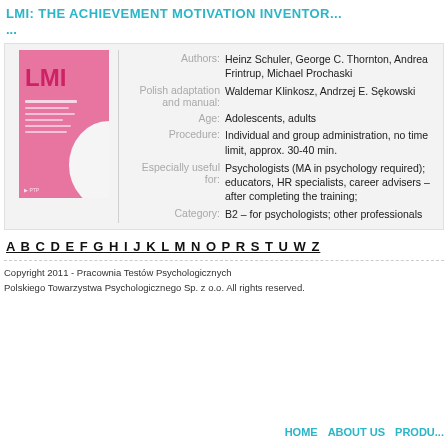LMI: THE ACHIEVEMENT MOTIVATION INVENTOR...
...
[Figure (illustration): Pink book cover with LMI text and white curved shape]
| Label | Value |
| --- | --- |
| Authors: | Heinz Schuler, George C. Thornton, Andrea Frintrup, Michael Prochaski |
| Polish adaptation and manual: | Waldemar Klinkosz, Andrzej E. Sękowski |
| Age: | Adolescents, adults |
| Procedure: | Individual and group administration, no time limit, approx. 30-40 min. |
| Especially useful for: | Psychologists (MA in psychology required); educators, HR specialists, career advisers – after completing the training; |
| Category: | B2 – for psychologists; other professionals |
A B C D E F G H I J K L M N O P R S T U W Z
Copyright 2011 - Pracownia Testów Psychologicznych
Polskiego Towarzystwa Psychologicznego Sp. z o.o. All rights reserved.
HOME   ABOUT US   PRODU...